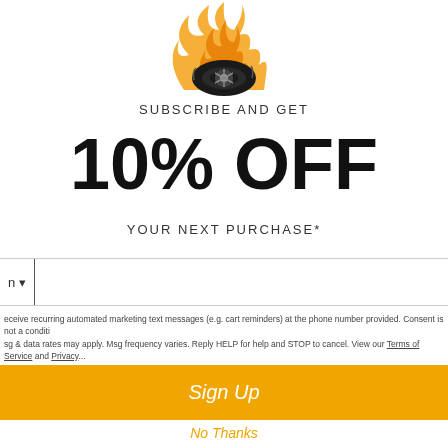[Figure (logo): Flaming tire logo with orange flames and black tire/wheel graphic]
SUBSCRIBE AND GET
10% OFF
YOUR NEXT PURCHASE*
Phone number input field with country code dropdown
receive recurring automated marketing text messages (e.g. cart reminders) at the phone number provided. Consent is not a condition. sg & data rates may apply. Msg frequency varies. Reply HELP for help and STOP to cancel. View our Terms of Service and Privacy...
Sign Up
No Thanks